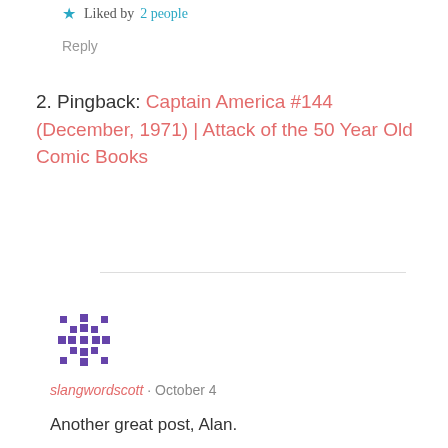★ Liked by 2 people
Reply
2. Pingback: Captain America #144 (December, 1971) | Attack of the 50 Year Old Comic Books
[Figure (illustration): Purple pixel/snowflake avatar icon for user slangwordscott]
slangwordscott · October 4
Another great post, Alan.
I've long held the opinion that "The Demon